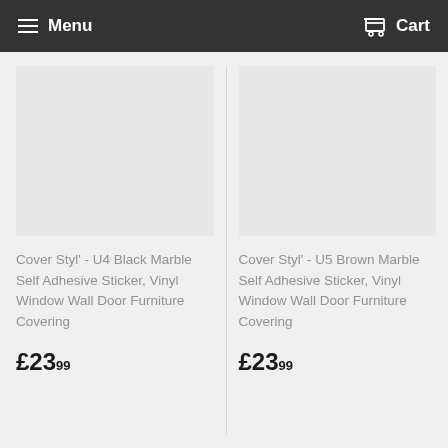Menu   Cart
Cover Styl' - U4 Black Marble Self Adhesive Sticker, Vinyl Window Wall Door Furniture Covering
£23.99
Cover Styl' - U5 Brown Marble Self Adhesive Sticker, Vinyl Window Wall Door Furniture Covering
£23.99